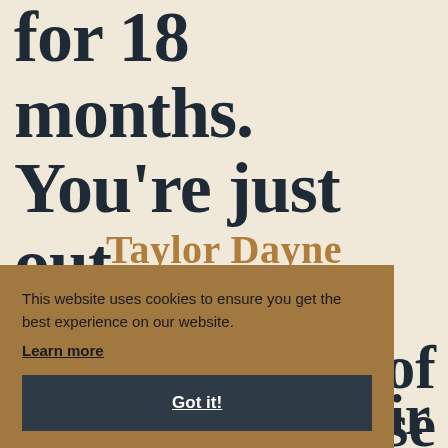for 18 months. You're just out there promoting.
Taylor Dayne
This website uses cookies to ensure you get the best experience on our website. Learn more Got it!
of
se
If anyone is their